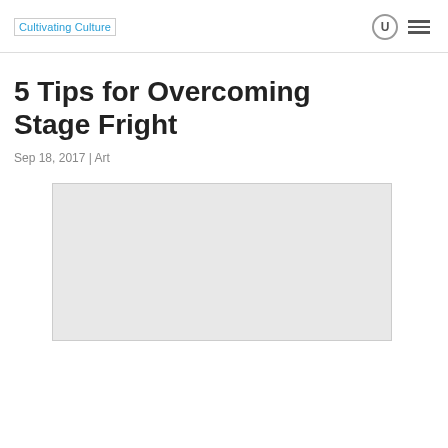Cultivating Culture
5 Tips for Overcoming Stage Fright
Sep 18, 2017 | Art
[Figure (photo): Light grey rectangular image placeholder below the article meta information]